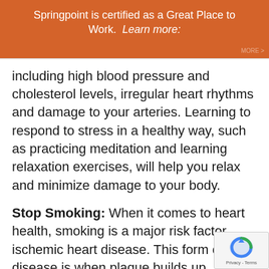Springpoint is certified as a Great Place to Work.  Learn more:
MORE
including high blood pressure and cholesterol levels, irregular heart rhythms and damage to your arteries. Learning to respond to stress in a healthy way, such as practicing meditation and learning relaxation exercises, will help you relax and minimize damage to your body.
Stop Smoking: When it comes to heart health, smoking is a major risk factor ischemic heart disease. This form of heart disease is when plaque builds up